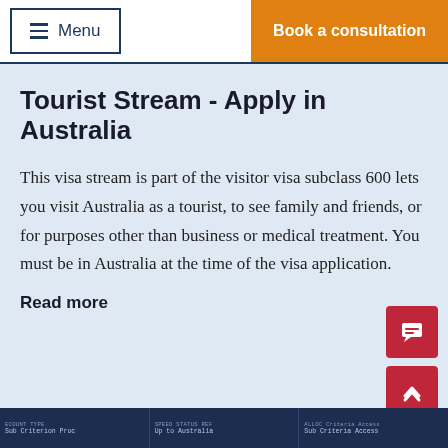Menu | Book a consultation
Tourist Stream - Apply in Australia
This visa stream is part of the visitor visa subclass 600 lets you visit Australia as a tourist, to see family and friends, or for purposes other than business or medical treatment. You must be in Australia at the time of the visa application.
Read more
[Figure (screenshot): Dark blue footer area with tabular data in small monospace text]